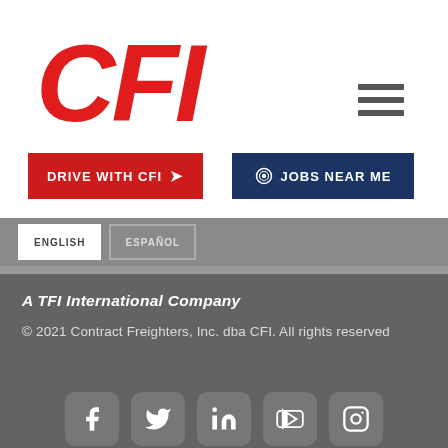[Figure (logo): CFI logo in red bold italic text]
[Figure (other): Hamburger menu icon (three horizontal lines)]
[Figure (other): Red button: DRIVE WITH CFI with arrow icon]
[Figure (other): Dark blue button: JOBS NEAR ME with target icon]
[Figure (other): Partially visible tab bar with ENGLISH and another tab]
A TFI International Company
© 2021 Contract Freighters, Inc. dba CFI. All rights reserved
[Figure (other): Social media icons row: Facebook, Twitter, LinkedIn, YouTube, Instagram]